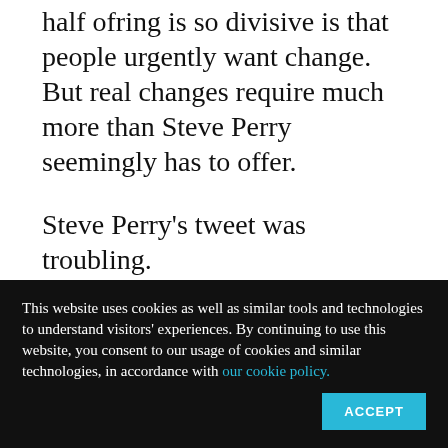half of ring is so divisive is that people urgently want change. But real changes require much more than Steve Perry seemingly has to offer.
Steve Perry's tweet was troubling.
It speaks directly to the pathologizing of blackness that also comes through in school policies that seek to make low-income folk middle class without giving them middle class
This website uses cookies as well as similar tools and technologies to understand visitors' experiences. By continuing to use this website, you consent to our usage of cookies and similar technologies, in accordance with our cookie policy.